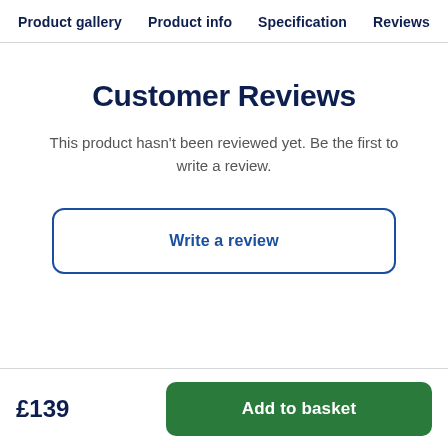Product gallery   Product info   Specification   Reviews
Customer Reviews
This product hasn't been reviewed yet. Be the first to write a review.
Write a review
£139
Add to basket